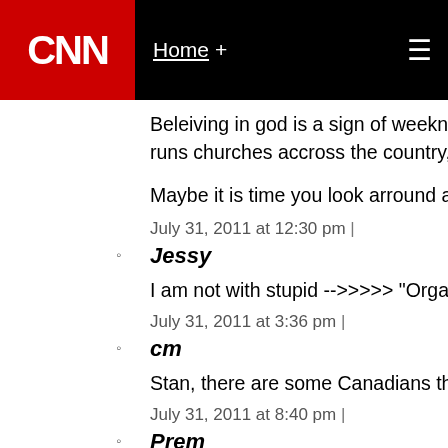CNN | Home +
Beleiving in god is a sign of weekness of the min... runs churches accross the country, a sign that yo...
Maybe it is time you look arround and realise tha...
July 31, 2011 at 12:30 pm |
Jessy
I am not with stupid -->>>>> "Organized Religio...
July 31, 2011 at 3:36 pm |
cm
Stan, there are some Canadians that believe in G...
July 31, 2011 at 8:40 pm |
Prem
Bob, You're right on!
Jesus does say in the Bible that christians will be...